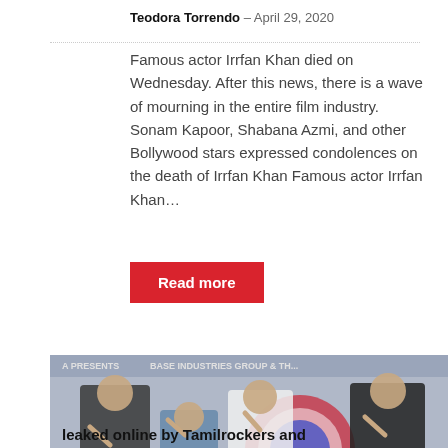Teodora Torrendo – April 29, 2020
Famous actor Irrfan Khan died on Wednesday. After this news, there is a wave of mourning in the entire film industry. Sonam Kapoor, Shabana Azmi, and other Bollywood stars expressed condolences on the death of Irrfan Khan Famous actor Irrfan Khan…
Read more
[Figure (photo): Group photo of four Bollywood actors at what appears to be a film event for Hera Pheri 3, with the movie logo visible in the foreground. Actors are posing and making hand gestures.]
Hera Pheri 3 (2020) Full Hindi movie leaked online by Tamilrockers and